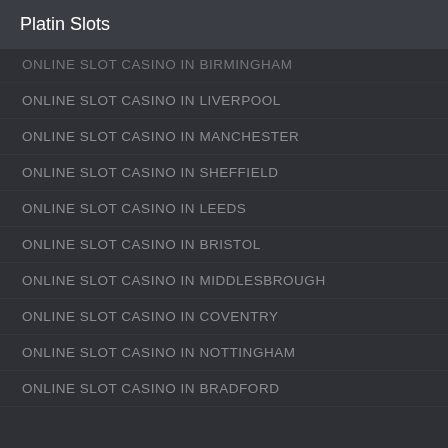Platin Slots
ONLINE SLOT CASINO IN BIRMINGHAM
ONLINE SLOT CASINO IN LIVERPOOL
ONLINE SLOT CASINO IN MANCHESTER
ONLINE SLOT CASINO IN SHEFFIELD
ONLINE SLOT CASINO IN LEEDS
ONLINE SLOT CASINO IN BRISTOL
ONLINE SLOT CASINO IN MIDDLESBROUGH
ONLINE SLOT CASINO IN COVENTRY
ONLINE SLOT CASINO IN NOTTINGHAM
ONLINE SLOT CASINO IN BRADFORD